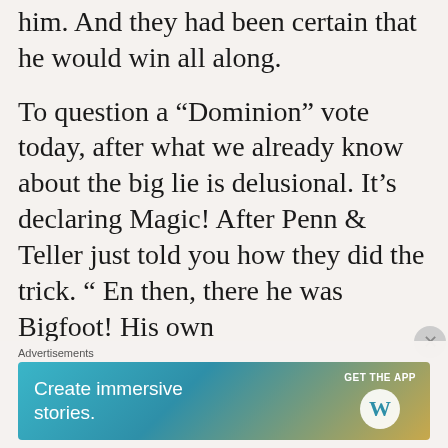him. And they had been certain that he would win all along.
To question a “Dominion” vote today, after what we already know about the big lie is delusional. It’s declaring Magic! After Penn & Teller just told you how they did the trick. “ En then, there he was Bigfoot! His own
Advertisements
[Figure (screenshot): WordPress advertisement banner: 'Create immersive stories.' with GET THE APP button and WordPress logo on a teal-to-gold gradient background.]